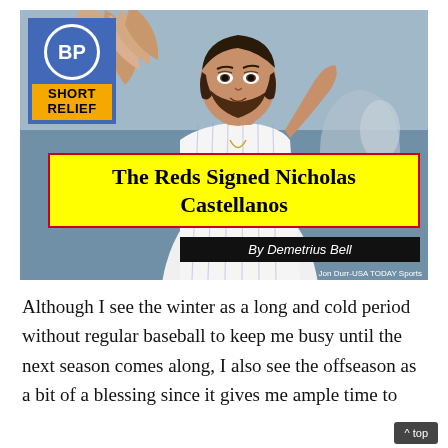[Figure (photo): Baseball player Nicholas Castellanos in a pinstripe uniform giving a high five, with BP Short Relief badge overlay. Photo credit: Jon Durr-USA TODAY Sports]
The Reds Signed Nicholas Castellanos
By Demetrius Bell
Although I see the winter as a long and cold period without regular baseball to keep me busy until the next season comes along, I also see the offseason as a bit of a blessing since it gives me ample time to